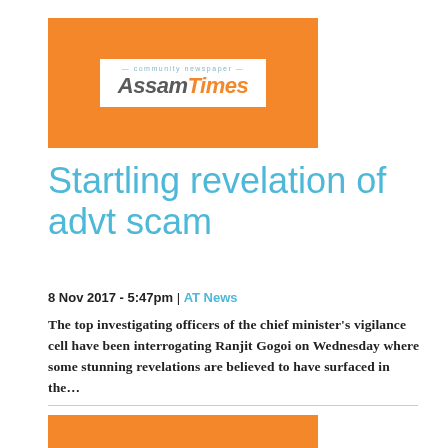[Figure (logo): AssamTimes community newspaper logo on orange background]
Startling revelation of advt scam
8 Nov 2017 - 5:47pm | AT News
The top investigating officers of the chief minister's vigilance cell have been interrogating Ranjit Gogoi on Wednesday where some stunning revelations are believed to have surfaced in the...
[Figure (logo): AssamTimes community newspaper logo on orange background (second instance)]